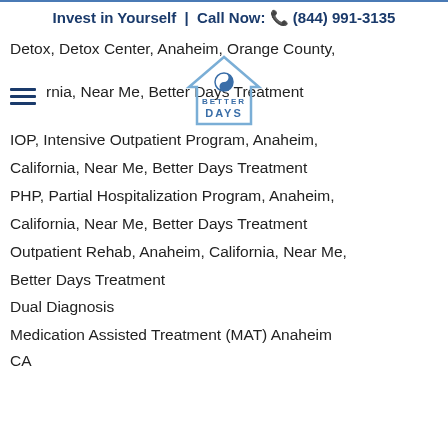Invest in Yourself  |  Call Now: (844) 991-3135
Detox, Detox Center, Anaheim, Orange County,
rnia, Near Me, Better Days Treatment
[Figure (logo): Better Days Treatment logo: house outline with yin-yang style icon, text BETTER DAYS in blue]
IOP, Intensive Outpatient Program, Anaheim,
California, Near Me, Better Days Treatment
PHP, Partial Hospitalization Program, Anaheim,
California, Near Me, Better Days Treatment
Outpatient Rehab, Anaheim, California, Near Me,
Better Days Treatment
Dual Diagnosis
Medication Assisted Treatment (MAT) Anaheim
CA